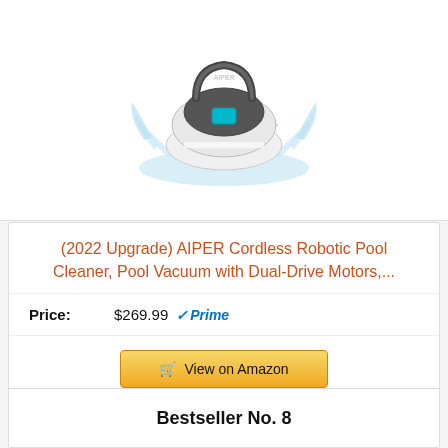[Figure (photo): AIPER robotic pool cleaner product photo showing a white and gray round device with a handle, surrounded by water splash]
(2022 Upgrade) AIPER Cordless Robotic Pool Cleaner, Pool Vacuum with Dual-Drive Motors,...
Price: $269.99 Prime
View on Amazon
Bestseller No. 8